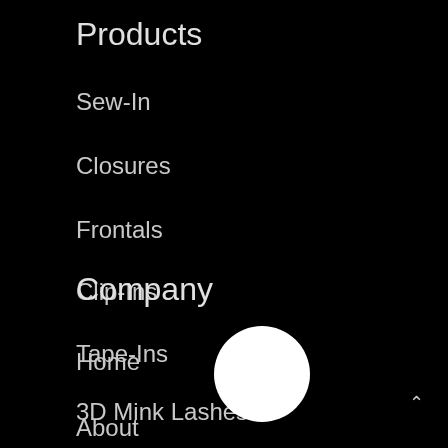Products
Sew-In
Closures
Frontals
Clip-Ins
Tape-Ins
3D Mink Lashes
Company
Home
About
[Figure (other): White circle UI element, possibly a button or avatar placeholder]